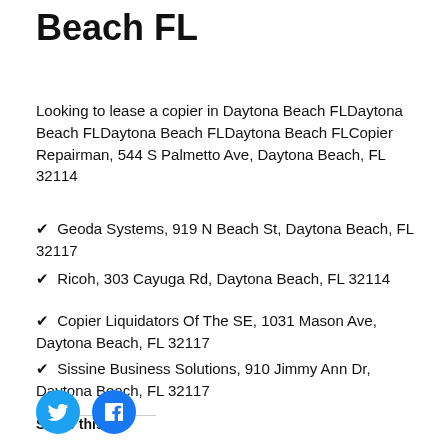Beach FL
Looking to lease a copier in Daytona Beach FLDaytona Beach FLDaytona Beach FLDaytona Beach FLCopier Repairman, 544 S Palmetto Ave, Daytona Beach, FL 32114
✔ Geoda Systems, 919 N Beach St, Daytona Beach, FL 32117
✔ Ricoh, 303 Cayuga Rd, Daytona Beach, FL 32114
✔ Copier Liquidators Of The SE, 1031 Mason Ave, Daytona Beach, FL 32117
✔ Sissine Business Solutions, 910 Jimmy Ann Dr, Daytona Beach, FL 32117
Share this:
[Figure (infographic): Twitter and Facebook social sharing icon buttons (blue circles with bird and F logos)]